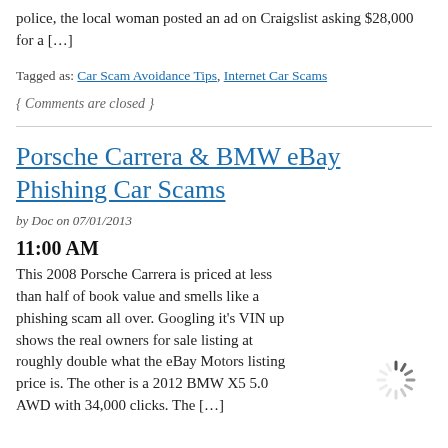police, the local woman posted an ad on Craigslist asking $28,000 for a […]
Tagged as: Car Scam Avoidance Tips, Internet Car Scams
{ Comments are closed }
Porsche Carrera & BMW eBay Phishing Car Scams
by Doc on 07/01/2013
11:00 AM
This 2008 Porsche Carrera is priced at less than half of book value and smells like a phishing scam all over. Googling it's VIN up shows the real owners for sale listing at roughly double what the eBay Motors listing price is. The other is a 2012 BMW X5 5.0 AWD with 34,000 clicks. The […]
[Figure (other): Loading spinner icon (animated spinner graphic)]